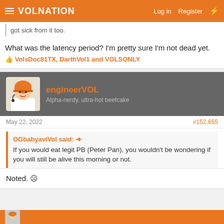VolNation — Log in  Register
got sick from it too.
What was the latency period? I'm pretty sure I'm not dead yet.
👍 VolsDoc81TX, DarthVol1 and VOLSONLY
[Figure (photo): Avatar of engineerVOL: cartoon figure wearing an orange helmet with headset microphone]
engineerVOL — Alpha-nerdy, ultra-hot beefcake
May 22, 2022   #152,655
OGbabyaviVol said: ➕
If you would eat legit PB (Peter Pan), you wouldn't be wondering if you will still be alive this morning or not.
Noted. ☹